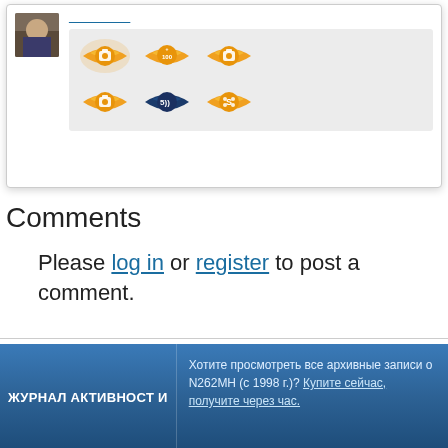[Figure (screenshot): User profile card showing a small avatar photo on the left and two rows of orange achievement badges (with one dark blue badge) on a grey background.]
Comments
Please log in or register to post a comment.
ЖУРНАЛ АКТИВНОСТИ | Хотите просмотреть все архивные записи о N262MH (с 1998 г.)? Купите сейчас, получите через час.